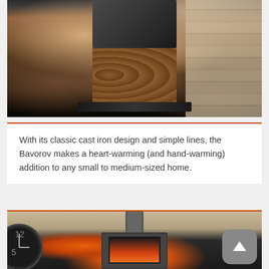[Figure (photo): A dark cast iron wood-burning stove with log storage below, set against a light stone wall background on a wooden floor]
With its classic cast iron design and simple lines, the Bavorov makes a heart-warming (and hand-warming) addition to any small to medium-sized home.
[Figure (photo): A modern freestanding wood-burning stove with a cylindrical flue pipe, set against a light stone tile wall, with a clock visible on the left side, showing flames through the glass door]